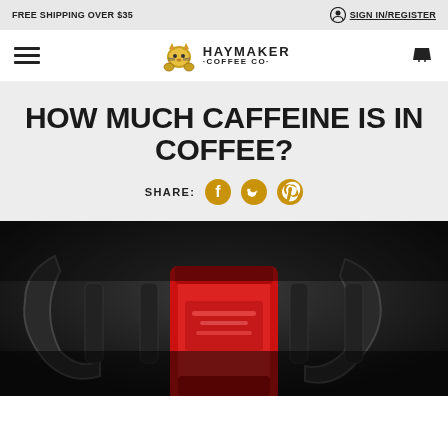FREE SHIPPING OVER $35
SIGN IN/REGISTER
[Figure (logo): Haymaker Coffee Co. logo with illustrated cat mascot and text HAYMAKER COFFEE CO.]
HOW MUCH CAFFEINE IS IN COFFEE?
SHARE:
[Figure (photo): A red coffee bag resting on black kettlebell handles in a dark gym environment]